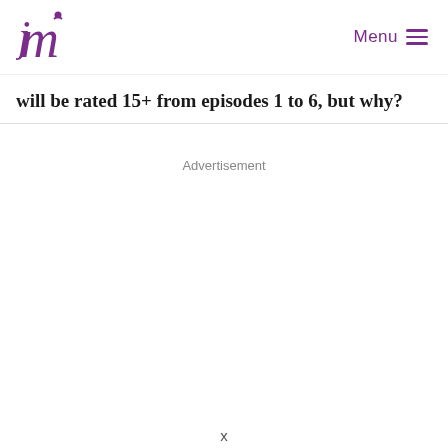Menu
will be rated 15+ from episodes 1 to 6, but why?
Advertisement